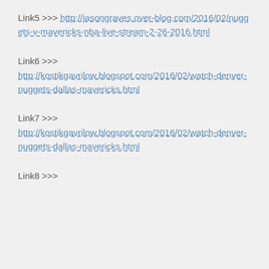Link5 >>> http://jasongraves.over-blog.com/2016/02/nuggets-v-mavericks-nba-live-stream-2-26-2016.html
Link6 >>> http://kostikgavrilow.blogspot.com/2016/02/watch-denver-nuggets-dallas-mavericks.html
Link7 >>> http://kostikgavrilow.blogspot.com/2016/02/watch-denver-nuggets-dallas-mavericks.html
Link8 >>>